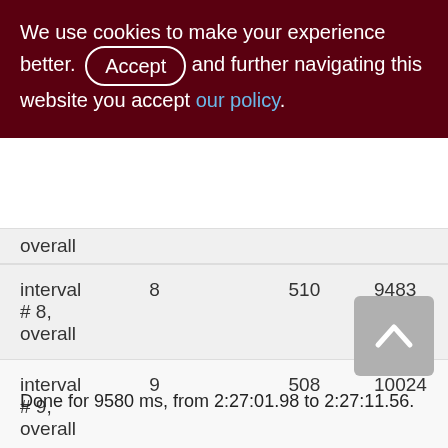We use cookies to make your experience better. By accepting and further navigating this website you accept our policy.
|  |  |  |  |
| --- | --- | --- | --- |
| overall |  |  |  |
| interval # 8, overall | 8 | 510 | 9483 |
| interval # 9, overall | 9 | 508 | 10024 |
| interval # 10, overall | 10 | 483 | 9825 |
Done for 9580 ms, from 2:27:01.98 to 2:27:11.56.